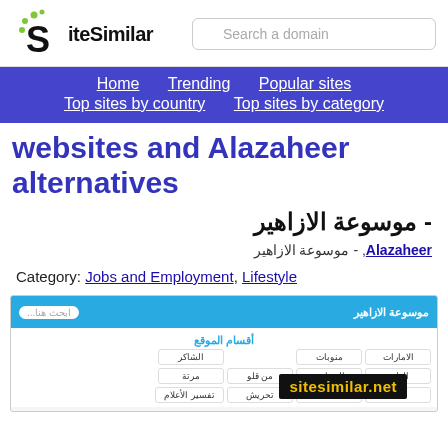SiteSimilar - Search a domain
Home | Trending | Popular sites | Top sites by country | Top sites by category
websites and Alazaheer alternatives
- موسوعة الازاهير
Alazaheer, - موسوعة الازاهير
Category: Jobs and Employment, Lifestyle
[Figure (screenshot): Screenshot of Alazaheer website with Arabic navigation, search bar, site sections including الامارات, منوبات, الطبع, السياحة and watermark sitesimilar.net]